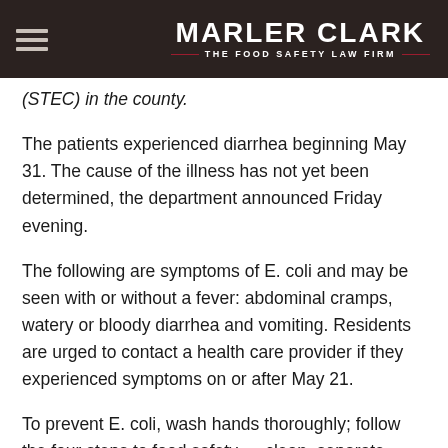MARLER CLARK — THE FOOD SAFETY LAW FIRM
(STEC) in the county.
The patients experienced diarrhea beginning May 31. The cause of the illness has not yet been determined, the department announced Friday evening.
The following are symptoms of E. coli and may be seen with or without a fever: abdominal cramps, watery or bloody diarrhea and vomiting. Residents are urged to contact a health care provider if they experienced symptoms on or after May 21.
To prevent E. coli, wash hands thoroughly; follow the four steps to food safety — clean, separate, cook, and chill; wash fruits and vegetables well under running